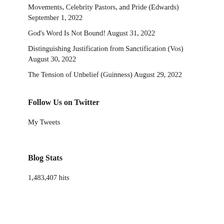Movements, Celebrity Pastors, and Pride (Edwards) September 1, 2022
God’s Word Is Not Bound! August 31, 2022
Distinguishing Justification from Sanctification (Vos) August 30, 2022
The Tension of Unbelief (Guinness) August 29, 2022
Follow Us on Twitter
My Tweets
Blog Stats
1,483,407 hits